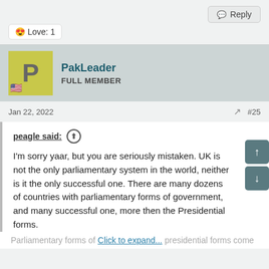Reply
😍 Love: 1
PakLeader
FULL MEMBER
Jan 22, 2022
#25
peagle said: ↑
I'm sorry yaar, but you are seriously mistaken. UK is not the only parliamentary system in the world, neither is it the only successful one. There are many dozens of countries with parliamentary forms of government, and many successful one, more then the Presidential forms.
Parliamentary forms of ... Click to expand... presidential forms come